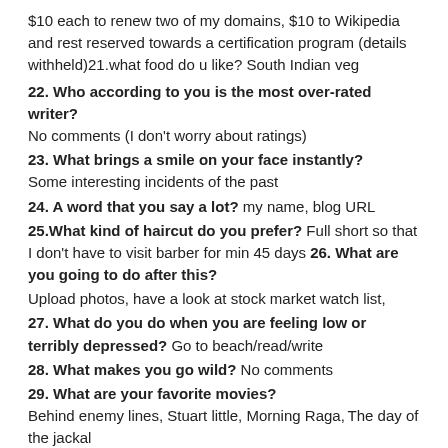$10 each to renew two of my domains, $10 to Wikipedia and rest reserved towards a certification program (details withheld)21.what food do u like? South Indian veg
22. Who according to you is the most over-rated writer? No comments (I don't worry about ratings)
23. What brings a smile on your face instantly? Some interesting incidents of the past
24. A word that you say a lot? my name, blog URL
25.What kind of haircut do you prefer? Full short so that I don't have to visit barber for min 45 days
26. What are you going to do after this? Upload photos, have a look at stock market watch list,
27. What do you do when you are feeling low or terribly depressed? Go to beach/read/write
28. What makes you go wild? No comments
29. What are your favorite movies? Behind enemy lines, Stuart little, Morning Raga, The day of the jackal